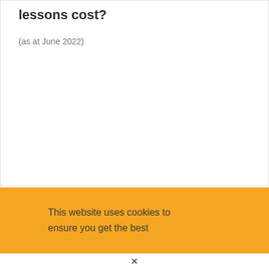lessons cost?
(as at June 2022)
This website uses cookies to ensure you get the best